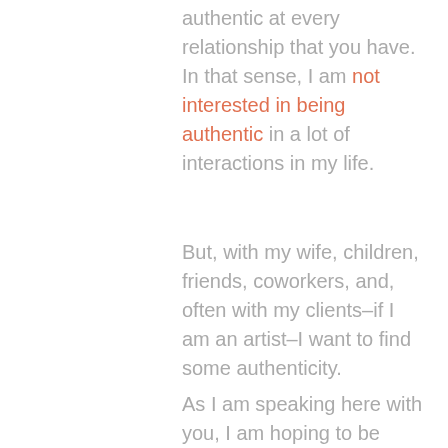authentic at every relationship that you have. In that sense, I am not interested in being authentic in a lot of interactions in my life.
But, with my wife, children, friends, coworkers, and, often with my clients–if I am an artist–I want to find some authenticity.
As I am speaking here with you, I am hoping to be touching upon something authentic inside of myself while I am doing that. So in that sense, there are a couple of things that I need to be able to embody.
One of them has to do with clarity. Do I